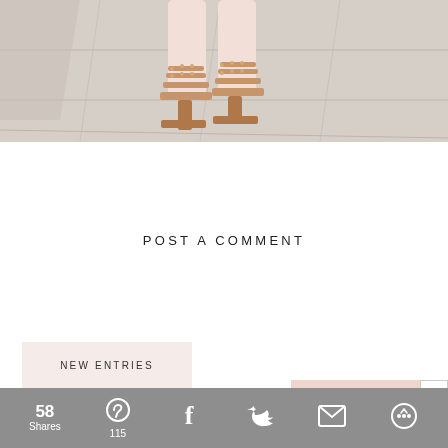[Figure (photo): Close-up photo of a woman's legs wearing strappy heeled sandals, standing on a stone/concrete pavement surface. The image is cropped to show only the lower legs and feet.]
POST A COMMENT
NEW ENTRIES
[Figure (infographic): Social sharing bar at the bottom with gray background showing: 58 Shares, Pinterest icon with 115, Facebook icon, Twitter icon, Email icon, and More/share icon. An X close button appears at top right of the bar area.]